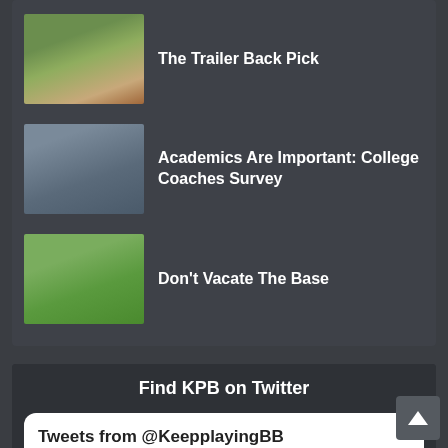[Figure (photo): Baseball player fielding on a dirt infield]
The Trailer Back Pick
[Figure (photo): Person sitting on bleachers looking at phone or book]
Academics Are Important: College Coaches Survey
[Figure (photo): Young baseball player in blue shirt and white helmet]
Don't Vacate The Base
Find KPB on Twitter
Tweets from @KeepplayingBB
KeepPlayingBaseball
@KeepplayingBB · 7h